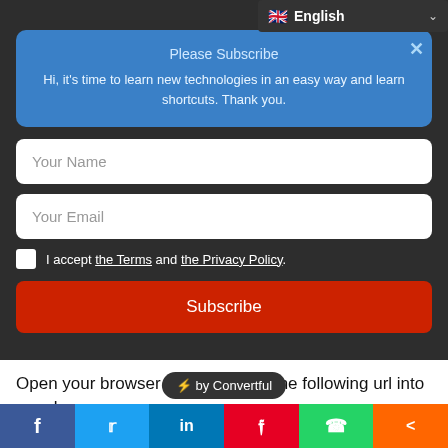[Figure (screenshot): Language selector dropdown showing UK flag and 'English' text with chevron]
Please Subscribe
Hi, it's time to learn new technologies in an easy way and learn shortcuts. Thank you.
Your Name
Your Email
I accept the Terms and the Privacy Policy.
Subscribe
⚡ by Convertful
Open your browser and simply hit the following url into your browser:
file:///C:/Users/Desktop/public/index.html
[Figure (screenshot): Social sharing bar with Facebook, Twitter, LinkedIn, Pinterest, WhatsApp, and share icons]